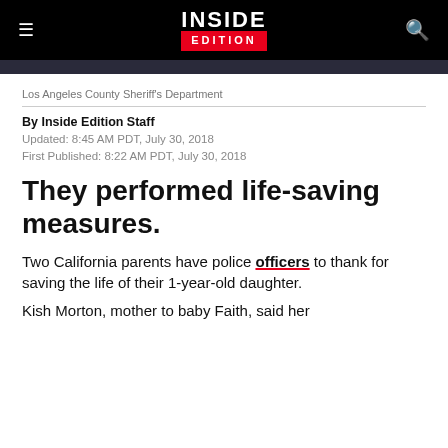INSIDE EDITION
[Figure (photo): Partial photo strip showing people, likely law enforcement]
Los Angeles County Sheriff's Department
By Inside Edition Staff
Updated: 8:45 AM PDT, July 30, 2018
First Published: 8:22 AM PDT, July 30, 2018
They performed life-saving measures.
Two California parents have police officers to thank for saving the life of their 1-year-old daughter.
Kish Morton, mother to baby Faith, said her